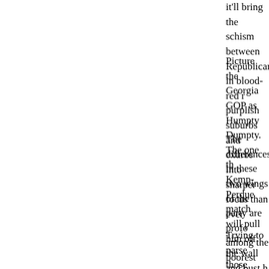it'll bring the schism between Republicans in blood-red rural areas and purplish suburbs and exurbs into sharper focus than ever.
Picture the Georgia GOP as Humpty Dumpty. The one thing the Kemp-Perdue match will pull him off the wall and bust him open; the question is whether either candidate can put him back together again.
The differences in these two wings of the party are profound. Trump won among the poorest and least well-educated voters on the planet; their suburban GOP cousins are pretty much the exact opposite: highly-educated and very affluent. It was among this latter group that Trump lost the presidential race.
Trying to parse those voting blocs right now strikes me as premature. My impulse would be to give Perdue the edge, thanks almost entirely to Trump. It was, after all, a Trump endorsement in 2018 that doomed Casey Cagle's then-frontrunning gubernatorial bid and all but handed the nomination to Kemp. How can Kemp expect to do without that Trump imprimatur?
That line of thinking might hold true in rural Georgia, but — and I say this without the benefit of any polling data, but I have to wor